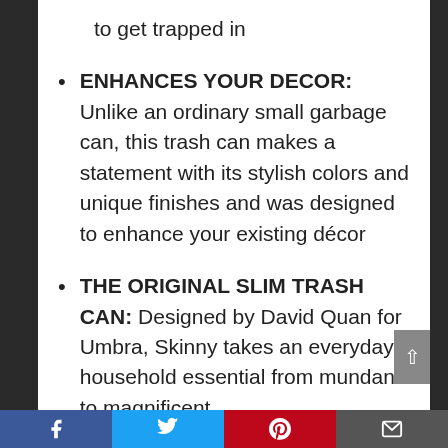to get trapped in
ENHANCES YOUR DECOR: Unlike an ordinary small garbage can, this trash can makes a statement with its stylish colors and unique finishes and was designed to enhance your existing décor
THE ORIGINAL SLIM TRASH CAN: Designed by David Quan for Umbra, Skinny takes an everyday household essential from mundane to magnificent
Facebook | Twitter | Pinterest | Email